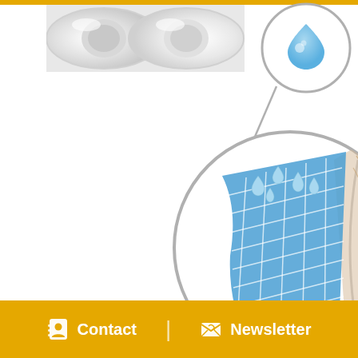[Figure (photo): Close-up photo of white contact lens or eye lens, partially visible, on white background in upper left area]
[Figure (illustration): Medical diagram showing a magnified cross-section of a contact lens on an eye, illustrating moisture/hydration with blue grid pattern and water droplets. A smaller inset circle shows a water droplet icon. Lines connect the inset to the main magnified diagram.]
Contact | Newsletter